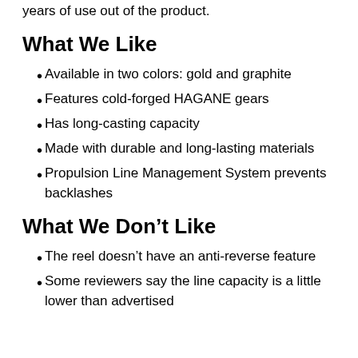years of use out of the product.
What We Like
Available in two colors: gold and graphite
Features cold-forged HAGANE gears
Has long-casting capacity
Made with durable and long-lasting materials
Propulsion Line Management System prevents backlashes
What We Don’t Like
The reel doesn’t have an anti-reverse feature
Some reviewers say the line capacity is a little lower than advertised